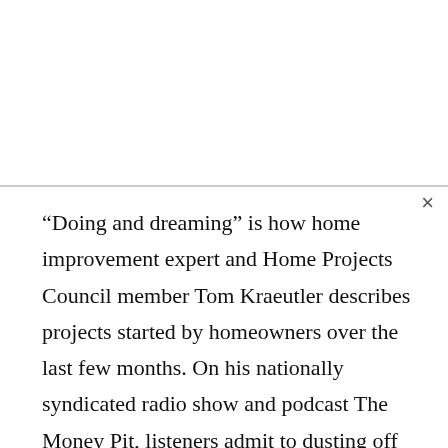“Doing and dreaming” is how home improvement expert and Home Projects Council member Tom Kraeutler describes projects started by homeowners over the last few months. On his nationally syndicated radio show and podcast The Money Pit, listeners admit to dusting off their “to-do” lists and completing projects they’d put off for years as well as planning future projects. “We’ve seen a huge increase in the number of calls, emails and social media posts from consumers asking us for help with projects. March alone was up over 112 percent from the previous year,” said Kraeutler.